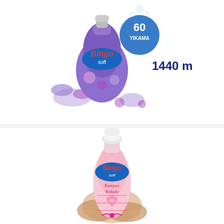[Figure (photo): Bingo Soft fabric softener bottle, purple orchid scent, 1440ml, 60 washes badge]
Cleaning Products
BINGO SOFTENER KONSTR.MOR CAKEKLER 1440ML
Stock code: 8690536901661
[Figure (photo): Bingo Soft fabric softener bottle, pink, being held in hands]